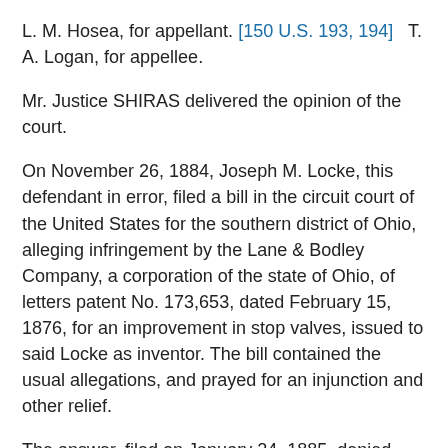L. M. Hosea, for appellant. [150 U.S. 193, 194]   T. A. Logan, for appellee.
Mr. Justice SHIRAS delivered the opinion of the court.
On November 26, 1884, Joseph M. Locke, this defendant in error, filed a bill in the circuit court of the United States for the southern district of Ohio, alleging infringement by the Lane & Bodley Company, a corporation of the state of Ohio, of letters patent No. 173,653, dated February 15, 1876, for an improvement in stop valves, issued to said Locke as inventor. The bill contained the usual allegations, and prayed for an injunction and other relief.
The answer, filed on January 24, 1885, denied that Locke was the original inventor, because the same devices were shown in certain specified earlier patents and publications; denied that said invention was not, for more than two years